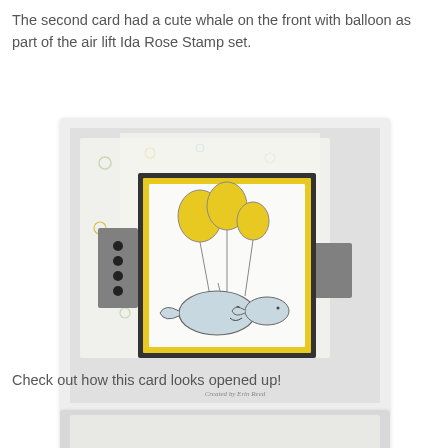The second card had a cute whale on the front with balloon as part of the air lift Ida Rose Stamp set.
[Figure (photo): A handmade greeting card featuring whales holding yellow balloons, displayed on patterned paper with gray accents and black button embellishments. Watermark reads 'Created by Erin Reed'.]
Check out how this card looks opened up!
[Figure (photo): Partial view of the opened card (cropped at bottom of page).]